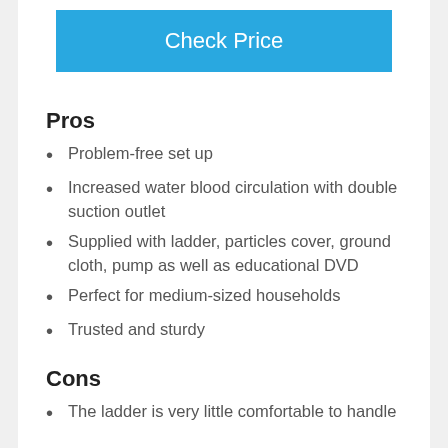[Figure (other): Blue 'Check Price' button]
Pros
Problem-free set up
Increased water blood circulation with double suction outlet
Supplied with ladder, particles cover, ground cloth, pump as well as educational DVD
Perfect for medium-sized households
Trusted and sturdy
Cons
The ladder is very little comfortable to handle